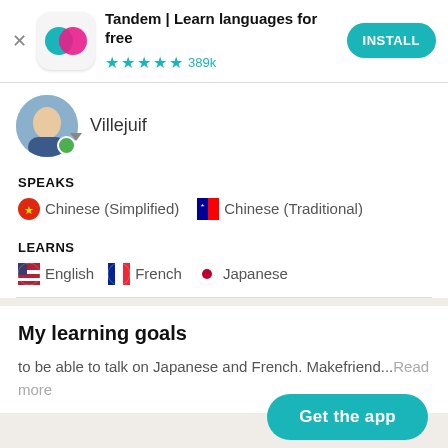[Figure (screenshot): Ad banner for Tandem app showing logo, title, star rating, and install button]
Tandem | Learn languages for free
★★★★½ 389k
[Figure (photo): User profile avatar with green online indicator]
Villejuif
SPEAKS
🇨🇳 Chinese (Simplified)  🇹🇼 Chinese (Traditional)
LEARNS
🇺🇸 English  🇫🇷 French  🔴 Japanese
My learning goals
to be able to talk on Japanese and French. Makefriend...Read more
Get the app